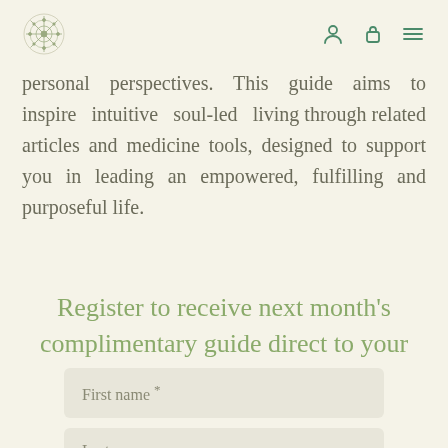[logo] [profile icon] [cart icon] [menu icon]
personal perspectives. This guide aims to inspire intuitive soul-led living through related articles and medicine tools, designed to support you in leading an empowered, fulfilling and purposeful life.
Register to receive next month's complimentary guide direct to your Inbox.
First name *
Last name